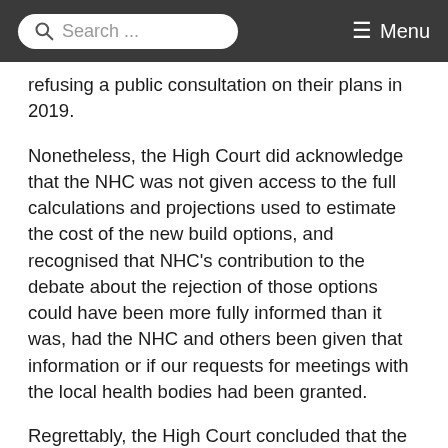Search ... Menu
refusing a public consultation on their plans in 2019.
Nonetheless, the High Court did acknowledge that the NHC was not given access to the full calculations and projections used to estimate the cost of the new build options, and recognised that NHC's contribution to the debate about the rejection of those options could have been more fully informed than it was, had the NHC and others been given that information or if our requests for meetings with the local health bodies had been granted.
Regrettably, the High Court concluded that the legal duty was simply to “involve” the public, and not formally consult them, so such deficiencies did not